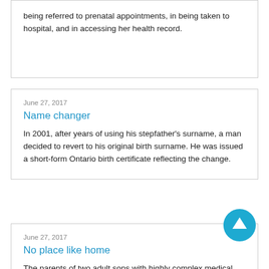being referred to prenatal appointments, in being taken to hospital, and in accessing her health record.
June 27, 2017
Name changer
In 2001, after years of using his stepfather's surname, a man decided to revert to his original birth surname. He was issued a short-form Ontario birth certificate reflecting the change.
June 27, 2017
No place like home
The parents of two adult sons with highly complex medical needs and developmental disabilities